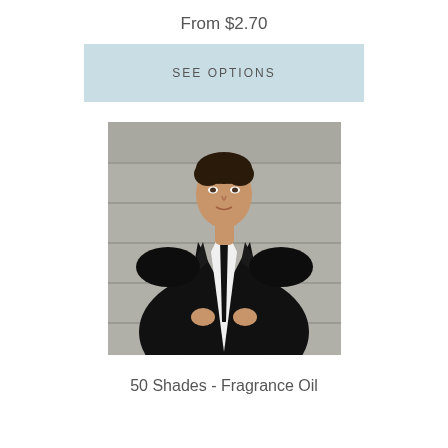From $2.70
SEE OPTIONS
[Figure (photo): A man in a black suit and dark tie against a stone background, adjusting his jacket]
50 Shades - Fragrance Oil